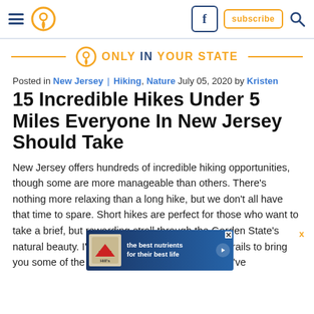Only In Your State — navigation bar with hamburger menu, location pin icon, Facebook icon, subscribe button, search icon
[Figure (logo): Only In Your State logo: location pin icon with horizontal orange lines on either side, text reads ONLY IN YOUR STATE in orange with IN in dark blue]
Posted in New Jersey | Hiking, Nature July 05, 2020 by Kristen
15 Incredible Hikes Under 5 Miles Everyone In New Jersey Should Take
New Jersey offers hundreds of incredible hiking opportunities, though some are more manageable than others. There's nothing more relaxing than a long hike, but we don't all have that time to spare. Short hikes are perfect for those who want to take a brief, but rewarding stroll through the Garden State's natural beauty. I've searched through dozens of trails to bring you some of the best short hikes in New Jersey. I've
[Figure (other): Hill's pet nutrition advertisement banner: blue gradient background, Hill's logo on left, text 'the best nutrients for their best life' in white bold text, play/arrow button on right, X close button in top right corner]